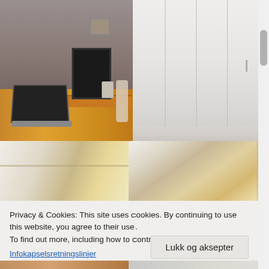[Figure (photo): Top row: two photos. Left: a bedroom/office with a wooden desk, laptop, monitor, and wall photo. Right: white wardrobe/closet with panel doors.]
[Figure (photo): Middle row: two photos. Left: warm-toned room interior corner. Right: interior with white shelves/cabinet and warm wood tones.]
Privacy & Cookies: This site uses cookies. By continuing to use this website, you agree to their use.
To find out more, including how to control cookies, see here:
Infokapselsretningslinjer
Lukk og aksepter
[Figure (photo): Bottom row: partial view of two more interior photos cropped at page bottom.]